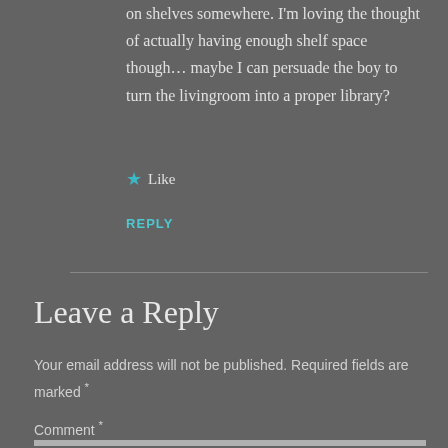on shelves somewhere. I'm loving the thought of actually having enough shelf space though… maybe I can persuade the boy to turn the livingroom into a proper library?
★ Like
REPLY
Leave a Reply
Your email address will not be published. Required fields are marked *
Comment *